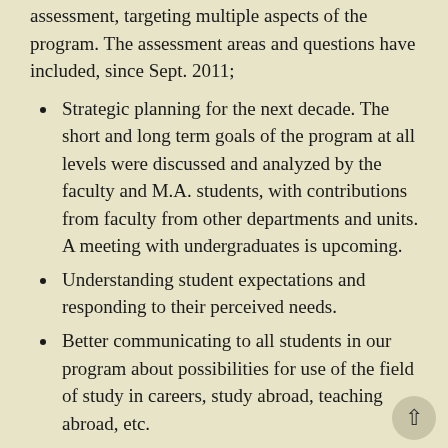assessment, targeting multiple aspects of the program. The assessment areas and questions have included, since Sept. 2011;
Strategic planning for the next decade. The short and long term goals of the program at all levels were discussed and analyzed by the faculty and M.A. students, with contributions from faculty from other departments and units. A meeting with undergraduates is upcoming.
Understanding student expectations and responding to their perceived needs.
Better communicating to all students in our program about possibilities for use of the field of study in careers, study abroad, teaching abroad, etc.
Increasing feedback from students at all